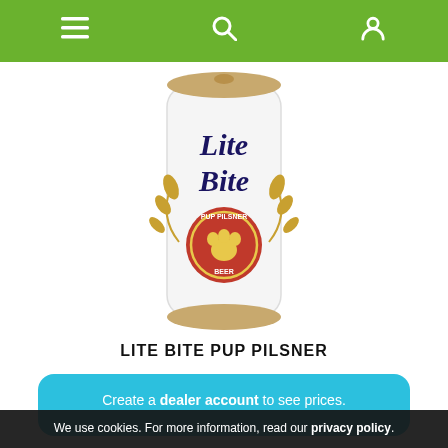Navigation bar with menu, search, and account icons
[Figure (photo): A white beer-style can labeled 'Lite Bite Pup Pilsner' with decorative wheat stalks and a red circular emblem with a paw print, styled to look like a Miller Lite beer can.]
LITE BITE PUP PILSNER
Create a dealer account to see prices.
We use cookies. For more information, read our privacy policy.